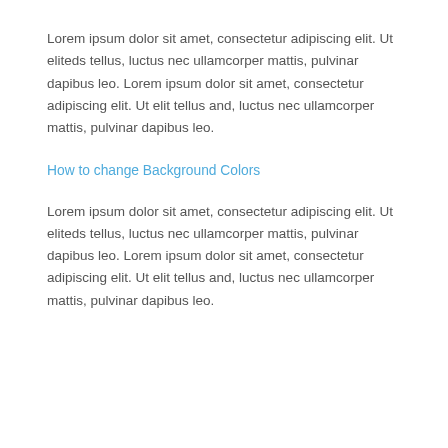Lorem ipsum dolor sit amet, consectetur adipiscing elit. Ut eliteds tellus, luctus nec ullamcorper mattis, pulvinar dapibus leo. Lorem ipsum dolor sit amet, consectetur adipiscing elit. Ut elit tellus and, luctus nec ullamcorper mattis, pulvinar dapibus leo.
How to change Background Colors
Lorem ipsum dolor sit amet, consectetur adipiscing elit. Ut eliteds tellus, luctus nec ullamcorper mattis, pulvinar dapibus leo. Lorem ipsum dolor sit amet, consectetur adipiscing elit. Ut elit tellus and, luctus nec ullamcorper mattis, pulvinar dapibus leo.